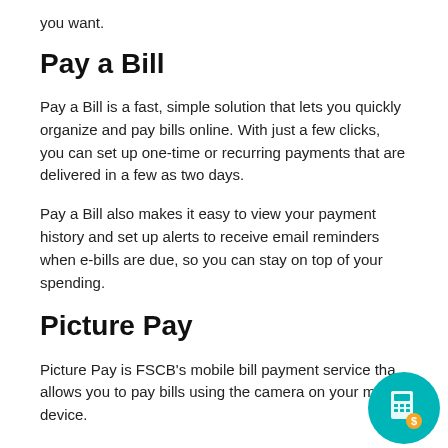you want.
Pay a Bill
Pay a Bill is a fast, simple solution that lets you quickly organize and pay bills online. With just a few clicks, you can set up one-time or recurring payments that are delivered in a few as two days.
Pay a Bill also makes it easy to view your payment history and set up alerts to receive email reminders when e-bills are due, so you can stay on top of your spending.
Picture Pay
Picture Pay is FSCB's mobile bill payment service that allows you to pay bills using the camera on your mobile device.